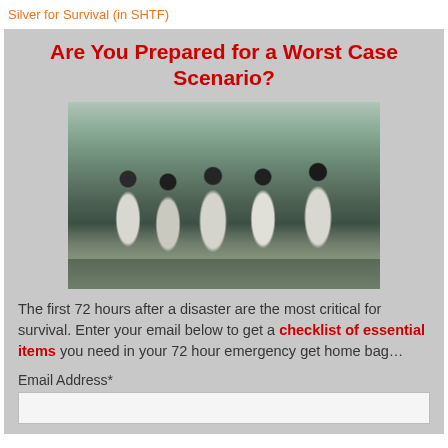Silver for Survival (in SHTF)
Are You Prepared for a Worst Case Scenario?
[Figure (photo): Group of people wearing gas masks and white hazmat suits outdoors, appearing to carry something, with industrial or post-disaster background]
The first 72 hours after a disaster are the most critical for survival. Enter your email below to get a checklist of essential items you need in your 72 hour emergency get home bag…
Email Address*